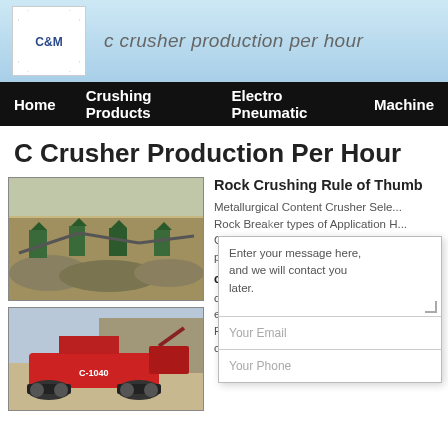c crusher production per hour
Home | Crushing Products | Electro Pneumatic | Machine
C Crusher Production Per Hour
[Figure (photo): Aerial view of a rock crushing plant with multiple crusher units and conveyors, piles of aggregate]
[Figure (photo): Red mobile jaw crusher C-1040 on tracks at a quarry site]
Rock Crushing Rule of Thumb
Metallurgical Content Crusher Selection Rock Breaker types of Application Horizontal Crushers: a primary crusher, secondary crusher
c100 crusher production per hour
coal crusher equipment list for mining 30 ton per hour. Price of stone crusher plant with capacity 100 crusher, ... at $78 per ton for ...